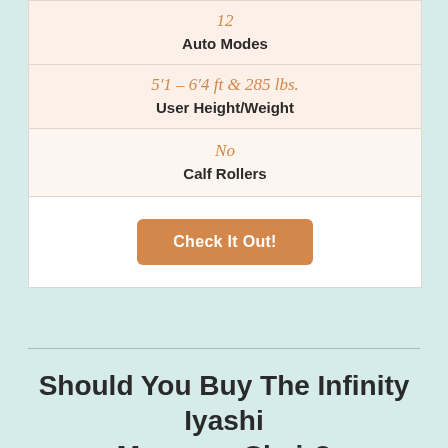| Value | Spec |
| --- | --- |
| 12 | Auto Modes |
| 5'1 – 6'4 ft & 285 lbs. | User Height/Weight |
| No | Calf Rollers |
Check It Out!
Should You Buy The Infinity Iyashi Massage Chair?